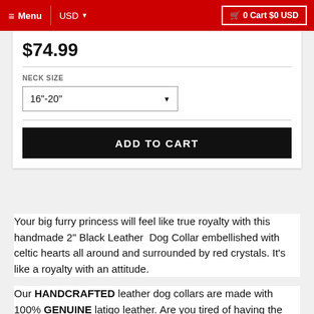Menu | USD ▼ | 🛒 0 Cart $0 USD
$74.99
NECK SIZE
16"-20"
ADD TO CART
Your big furry princess will feel like true royalty with this handmade 2" Black Leather Dog Collar embellished with celtic hearts all around and surrounded by red crystals. It's like a royalty with an attitude.
Our HANDCRAFTED leather dog collars are made with 100% GENUINE latigo leather. Are you tired of having the same collar as your neighbor ? Customize a collar today with Rad N Bad Collars